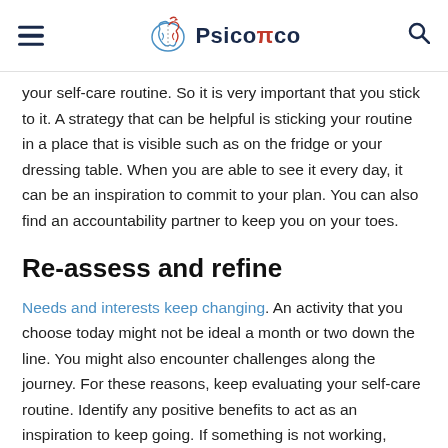PsicoPco
your self-care routine. So it is very important that you stick to it. A strategy that can be helpful is sticking your routine in a place that is visible such as on the fridge or your dressing table. When you are able to see it every day, it can be an inspiration to commit to your plan. You can also find an accountability partner to keep you on your toes.
Re-assess and refine
Needs and interests keep changing. An activity that you choose today might not be ideal a month or two down the line. You might also encounter challenges along the journey. For these reasons, keep evaluating your self-care routine. Identify any positive benefits to act as an inspiration to keep going. If something is not working, identify the challenges and find ways to solve them.